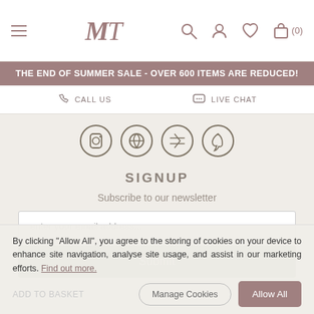MT logo and navigation icons with hamburger menu, search, account, wishlist, basket(0)
THE END OF SUMMER SALE - OVER 600 ITEMS ARE REDUCED!
CALL US   LIVE CHAT
[Figure (illustration): Four circular social media icon buttons (Instagram, Facebook/Globe, Twitter, Pinterest)]
SIGNUP
Subscribe to our newsletter
enter your email address...
Submit
By clicking "Allow All", you agree to the storing of cookies on your device to enhance site navigation, analyse site usage, and assist in our marketing efforts. Find out more.
Allow All
ADD TO BASKET
Manage Cookies